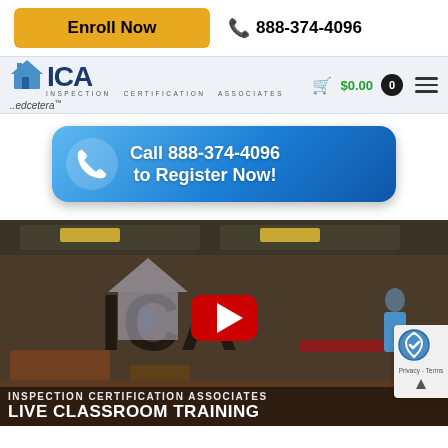[Figure (screenshot): Enroll Now button (gold/yellow) and phone number 888-374-4096 top bar]
[Figure (logo): ICA Inspection Certification Associates logo with house icon and edcetera text, navigation bar with cart $0.00 and hamburger menu]
[Figure (screenshot): Blue rounded call-to-action button with phone icon: Call 888-374-4096 to Register Now!]
[Figure (screenshot): Video thumbnail showing ICA logo, YouTube play button, text INSPECTION CERTIFICATION ASSOCIATES and LIVE CLASSROOM TRAINING]